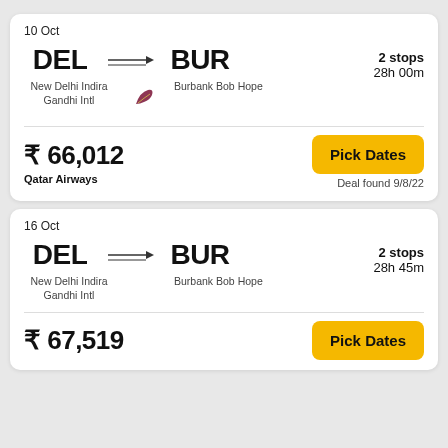10 Oct
DEL → BUR
New Delhi Indira Gandhi Intl / Burbank Bob Hope
2 stops
28h 00m
₹ 66,012
Qatar Airways
Pick Dates
Deal found 9/8/22
16 Oct
DEL → BUR
New Delhi Indira Gandhi Intl / Burbank Bob Hope
2 stops
28h 45m
₹ 67,519
Pick Dates